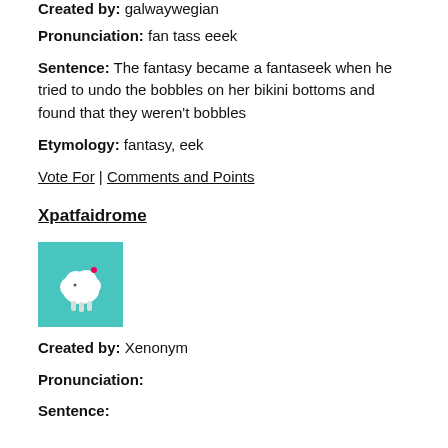Created by: galwaywegian
Pronunciation: fan tass eeek
Sentence: The fantasy became a fantaseek when he tried to undo the bobbles on her bikini bottoms and found that they weren't bobbles
Etymology: fantasy, eek
Vote For | Comments and Points
Xpatfaidrome
[Figure (illustration): Thumbnail image with teal background showing a small cartoon sheep or cloud character]
Created by: Xenonym
Pronunciation:
Sentence: